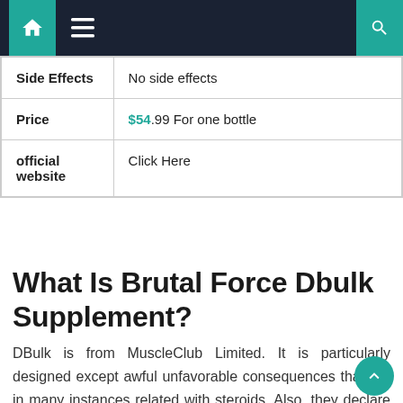Navigation bar with home, menu, and search icons
| Side Effects | No side effects |
| Price | $54.99 For one bottle |
| official website | Click Here |
What Is Brutal Force Dbulk Supplement?
DBulk is from MuscleClub Limited. It is particularly designed except awful unfavorable consequences that are in many instances related with steroids. Also, they declare that this complement can assist to push greater weight, enlarge strength, build muscle fast, put off fat, expand testosterone levels, and gives fast muscle recovery.